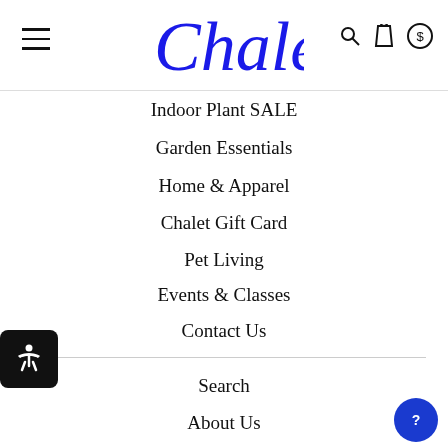[Figure (logo): Chalet script logo in blue cursive font]
Indoor Plant SALE
Garden Essentials
Home & Apparel
Chalet Gift Card
Pet Living
Events & Classes
Contact Us
Search
About Us